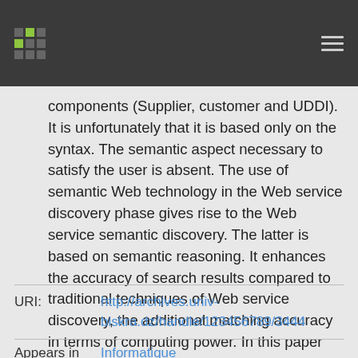[Header bar with logo and navigation]
components (Supplier, customer and UDDI). It is unfortunately that it is based only on the syntax. The semantic aspect necessary to satisfy the user is absent. The use of semantic Web technology in the Web service discovery phase gives rise to the Web service semantic discovery. The latter is based on semantic reasoning. It enhances the accuracy of search results compared to traditional techniques of Web service discovery, the additional matching accuracy in terms of computing power. In this paper we are interested to the distributed GWS semantic discovery based on geographical metadata held in geo-catalogs. The metadata used in our case is designed according to the ISO 19119 standard reinforced by the quality criteria....
URI: http://archives.univ-biskra.dz/handle/123456789/3444
Appears in Informatique